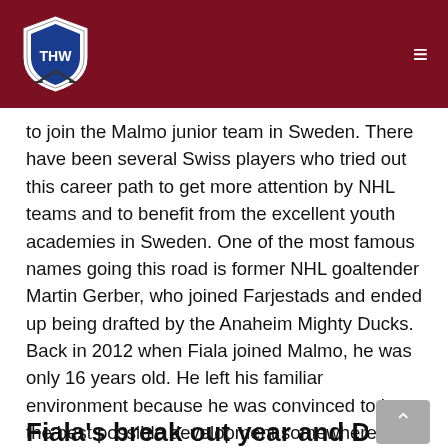THW (The Hockey Writers) logo and navigation
to join the Malmo junior team in Sweden. There have been several Swiss players who tried out this career path to get more attention by NHL teams and to benefit from the excellent youth academies in Sweden. One of the most famous names going this road is former NHL goaltender Martin Gerber, who joined Farjestads and ended up being drafted by the Anaheim Mighty Ducks. Back in 2012 when Fiala joined Malmo, he was only 16 years old. He left his familiar environment because he was convinced to have the best possible development somewhere else and together with his father he agreed Sweden is the best place for him. North America wasn't an option at that point because of his lack of size.
Fiala's break out year and Draft party